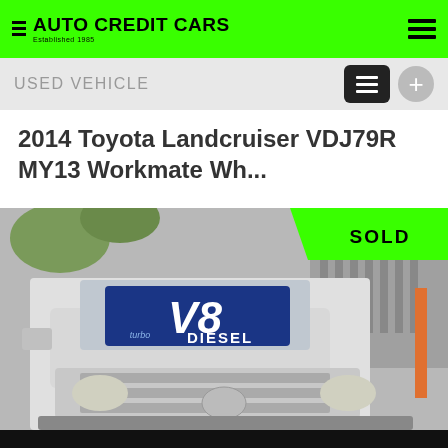AUTO CREDIT CARS
USED VEHICLE
2014 Toyota Landcruiser VDJ79R MY13 Workmate Wh...
[Figure (photo): Front view of a white Toyota Landcruiser 4WD truck with a blue windscreen sign reading V8 Turbo Diesel. A green SOLD badge is in the top right corner of the image.]
CONTACT US
FINANCE THIS VEHICLE